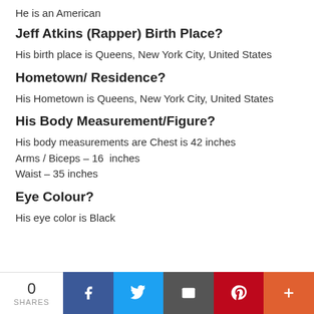He is an American
Jeff Atkins (Rapper) Birth Place?
His birth place is Queens, New York City, United States
Hometown/ Residence?
His Hometown is Queens, New York City, United States
His Body Measurement/Figure?
His body measurements are Chest is 42 inches
Arms / Biceps – 16  inches
Waist – 35 inches
Eye Colour?
His eye color is Black
0 SHARES | Facebook | Twitter | Email | Pinterest | More